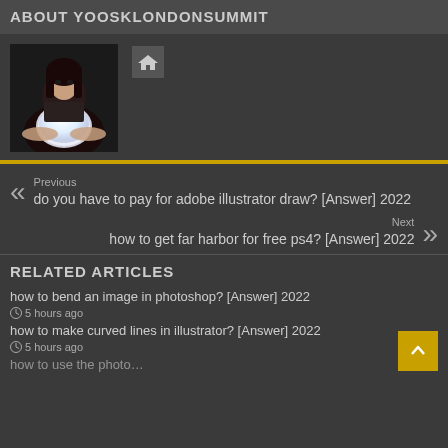ABOUT YOOSKLONDONSUMMIT
[Figure (photo): Woman with dark hair and dramatic makeup holding a glowing crystal ball]
[Figure (illustration): Home icon button (house symbol) in a grey square]
Previous
do you have to pay for adobe illustrator draw? [Answer] 2022
Next
how to get far harbor for free ps4? [Answer] 2022
RELATED ARTICLES
how to bend an image in photoshop? [Answer] 2022
5 hours ago
how to make curved lines in illustrator? [Answer] 2022
5 hours ago